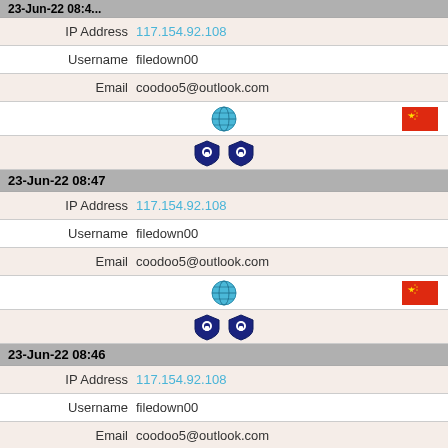23-Jun-22 08:47 (partial, top cut off)
IP Address  117.154.92.108
Username  filedown00
Email  coodoo5@outlook.com
[Figure (illustration): Globe icon and Chinese flag icon]
[Figure (illustration): Two shield/padlock icons]
23-Jun-22 08:47
IP Address  117.154.92.108
Username  filedown00
Email  coodoo5@outlook.com
[Figure (illustration): Globe icon and Chinese flag icon]
[Figure (illustration): Two shield/padlock icons]
23-Jun-22 08:46
IP Address  117.154.92.108
Username  filedown00
Email  coodoo5@outlook.com
[Figure (illustration): Globe icon and Chinese flag icon]